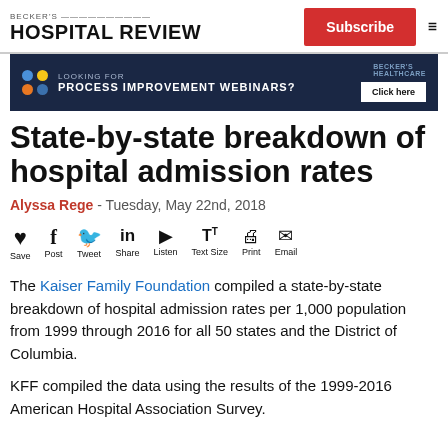BECKER'S HOSPITAL REVIEW
[Figure (screenshot): Dark navy banner advertisement: 'LOOKING FOR PROCESS IMPROVEMENT WEBINARS?' with colorful dots on left, Becker's Healthcare logo and 'Click here' button on right]
State-by-state breakdown of hospital admission rates
Alyssa Rege - Tuesday, May 22nd, 2018
[Figure (infographic): Social sharing bar with icons: Save (heart), Post (Facebook f), Tweet (bird), Share (LinkedIn in), Listen (play button), Text Size (TT), Print (printer), Email (envelope)]
The Kaiser Family Foundation compiled a state-by-state breakdown of hospital admission rates per 1,000 population from 1999 through 2016 for all 50 states and the District of Columbia.
KFF compiled the data using the results of the 1999-2016 American Hospital Association Survey.